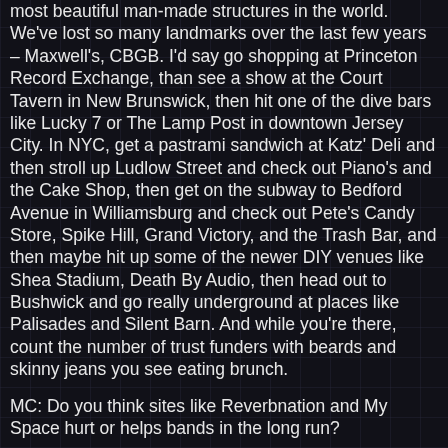most beautiful man-made structures in the world.  We've lost so many landmarks over the last few years – Maxwell's, CBGB. I'd say go shopping at Princeton Record Exchange, than see a show at the Court Tavern in New Brunswick, then hit one of the dive bars like Lucky 7 or The Lamp Post in downtown Jersey City.  In NYC, get a pastrami sandwich at Katz' Deli and then stroll up Ludlow Street and check out Piano's and the Cake Shop, then get on the subway to Bedford Avenue in Williamsburg and check out Pete's Candy Store, Spike Hill, Grand Victory,  and the Trash Bar, and then maybe hit up some of the newer DIY venues like Shea Stadium, Death By Audio, then head out to Bushwick and go really underground at places like Palisades and Silent Barn.  And while you're there, count the number of trust funders with beards and skinny jeans you see eating brunch.
MC: Do you think sites like Reverbnation and My Space hurt or helps bands in the long run?
JT: Well, MySpace is a prime example of how fluid the Internet age can be.  Bands took years to build up their MySpace audience and add photos and songs, and now no one uses the site anymore. However I do think that free sites like Reverbnation, YouTube, Bandcamp, and Soundcloud are amazing tools that help bands get there music out there, either for free or affordably.   In one way, it's really leveled the playing the field. On the other hand, you kind of wonder what kind of world we're in for when you stop and think